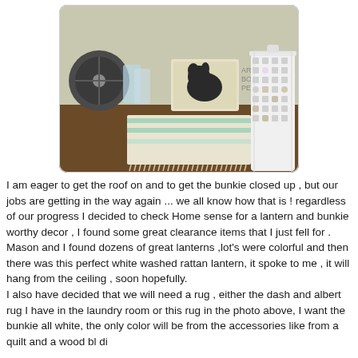[Figure (photo): A wooden table with home decor items: a striped fringed throw blanket/rug in mint and beige, a white decorative lattice lantern, a picture frame with a dog silhouette, some glassware, and a small fan in the background.]
I am eager to get the roof on and to get the bunkie closed up , but our jobs are getting in the way again ... we all know how that is ! regardless of our progress I decided to check Home sense for a lantern and bunkie worthy decor , I found some great clearance items that I just fell for . Mason and I found dozens of great lanterns ,lot's were colorful and then there was this perfect white washed rattan lantern, it spoke to me , it will hang from the ceiling , soon hopefully.
I also have decided that we will need a rug , either the dash and albert rug I have in the laundry room or this rug in the photo above, I want the bunkie all white, the only color will be from the accessories like from a quilt and a wood bl di